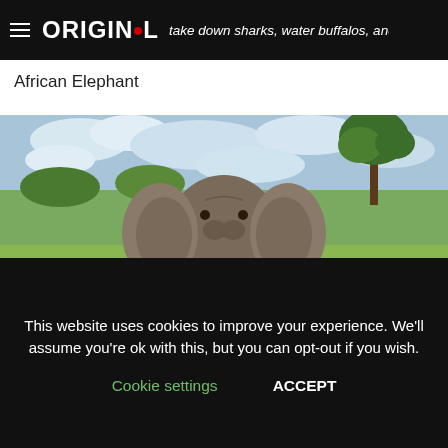ORIGINOL
take down sharks, water buffalos, and other large mammals in seconds
African Elephant
[Figure (photo): An African elephant walking toward the camera on a grassy savanna, with trees and cloudy sky in the background.]
This website uses cookies to improve your experience. We'll assume you're ok with this, but you can opt-out if you wish. Cookie settings  ACCEPT